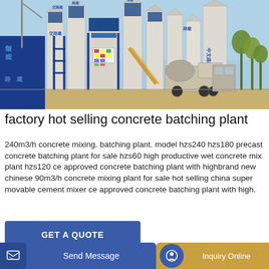[Figure (photo): Photograph of a concrete batching plant facility with tall blue and white cylindrical silos, blue steel structures, signage in Chinese characters (交路建, 路建, 中文路建, etc.), a concrete mixer truck, and a crane in the background against a clear blue sky.]
factory hot selling concrete batching plant
240m3/h concrete mixing. batching plant. model hzs240 hzs180 precast concrete batching plant for sale hzs60 high productive wet concrete mix plant hzs120 ce approved concrete batching plant with highbrand new chinese 90m3/h concrete mixing plant for sale hot selling china super movable cement mixer ce approved concrete batching plant with high.
GET A QUOTE
[Figure (photo): Partial photo visible at the bottom of the page showing another concrete-related industrial scene.]
Send Message
Inquiry Online